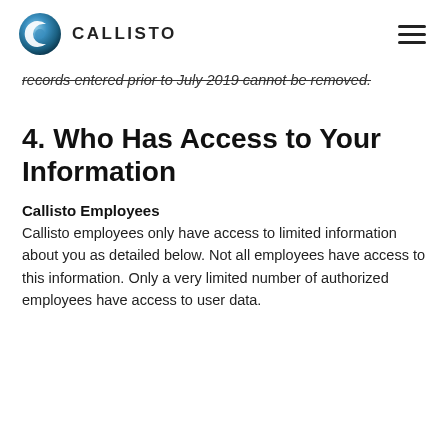CALLISTO
records entered prior to July 2019 cannot be removed.
4. Who Has Access to Your Information
Callisto Employees
Callisto employees only have access to limited information about you as detailed below. Not all employees have access to this information. Only a very limited number of authorized employees have access to user data.